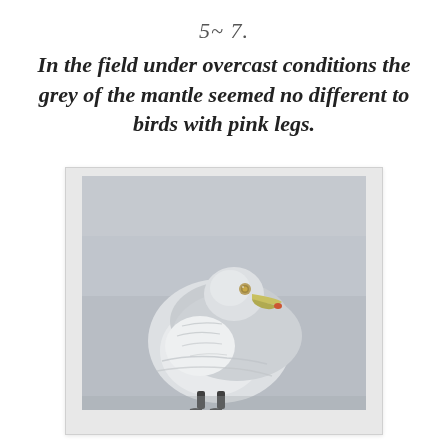5~ 7.
In the field under overcast conditions the grey of the mantle seemed no different to birds with pink legs.
[Figure (photo): A seagull photographed under overcast grey conditions, showing the bird's grey mantle, white plumage, and yellowish bill against a flat grey background. The bird appears to be perched and is viewed from a slightly elevated angle showing its back and head turned to the right.]